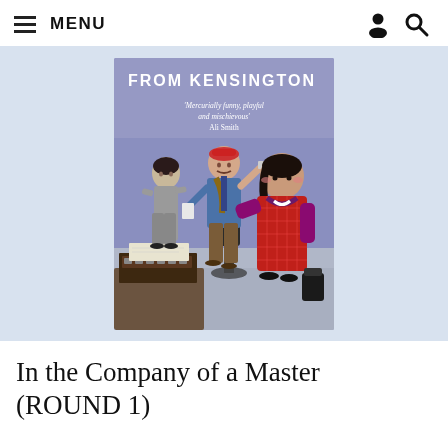≡ MENU
[Figure (illustration): Book cover for 'From Kensington' by Muriel Spark, illustrated with stylized figures of three characters in an office setting. The cover features a purple/blue background with the title 'FROM KENSINGTON' in white block letters. A quote reads: 'Mercurially funny, playful and mischievous' Ali Smith. Three illustrated figures: a woman in grey on the left, a man in blue jacket and brown trousers in the centre holding a cup, and a larger woman in a red plaid dress on the right. A typewriter and desk are visible in the lower left.]
In the Company of a Master (ROUND 1)